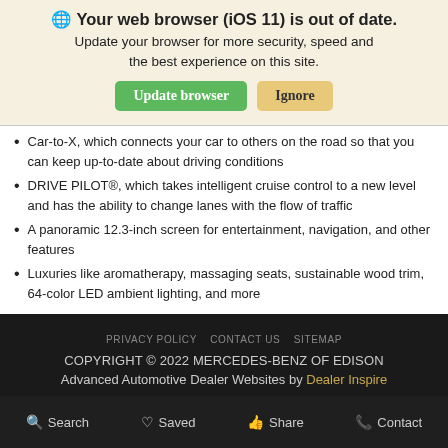🌐 Your web browser (iOS 11) is out of date. Update your browser for more security, speed and the best experience on this site.
Car-to-X, which connects your car to others on the road so that you can keep up-to-date about driving conditions
DRIVE PILOT®, which takes intelligent cruise control to a new level and has the ability to change lanes with the flow of traffic
A panoramic 12.3-inch screen for entertainment, navigation, and other features
Luxuries like aromatherapy, massaging seats, sustainable wood trim, 64-color LED ambient lighting, and more
PRIVACY POLICY   CONTACT US   SITEMAP
COPYRIGHT © 2022 MERCEDES-BENZ OF EDISON
Advanced Automotive Dealer Websites by Dealer Inspire
Search   Saved   Share   Contact